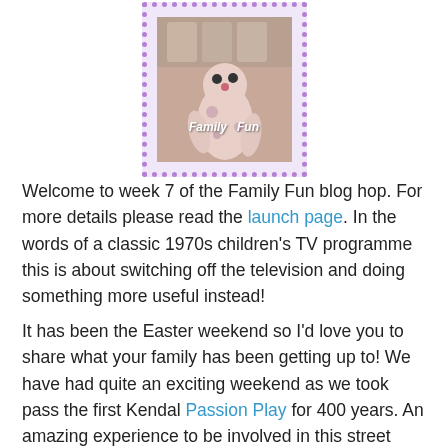[Figure (photo): A 'Family Fun' blog hop image styled as a postage stamp with purple dotted border, showing a sock puppet toy and jars in the background, with text 'Family Fun' overlaid.]
Welcome to week 7 of the Family Fun blog hop. For more details please read the launch page. In the words of a classic 1970s children's TV programme this is about switching off the television and doing something more useful instead!
It has been the Easter weekend so I'd love you to share what your family has been getting up to! We have had quite an exciting weekend as we took pass the first Kendal Passion Play for 400 years. An amazing experience to be involved in this street theatre project. I wrote about the first part on Friday and the finale is on the official blog.